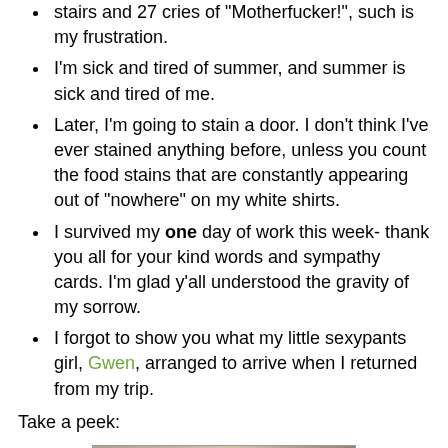stairs and 27 cries of "Motherfucker!", such is my frustration.
I'm sick and tired of summer, and summer is sick and tired of me.
Later, I'm going to stain a door. I don't think I've ever stained anything before, unless you count the food stains that are constantly appearing out of "nowhere" on my white shirts.
I survived my one day of work this week- thank you all for your kind words and sympathy cards. I'm glad y'all understood the gravity of my sorrow.
I forgot to show you what my little sexypants girl, Gwen, arranged to arrive when I returned from my trip.
Take a peek:
[Figure (photo): A photo showing a box with a colorful cookie-shaped tag reading 'Hi. Eat me. Cookie']